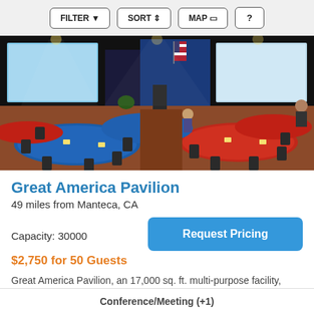FILTER   SORT   MAP   ?
[Figure (photo): Interior of Great America Pavilion showing round banquet tables with blue and red tablecloths, chairs, a stage with American flag, projection screens, and event lighting.]
Great America Pavilion
49 miles from Manteca, CA
Capacity: 30000
Request Pricing
$2,750 for 50 Guests
Great America Pavilion, an 17,000 sq. ft. multi-purpose facility, located adjacent to Levi's Stadium, is the Bay Area's newest and most unique entertainment venue. Great America Pavilion is
Conference/Meeting (+1)